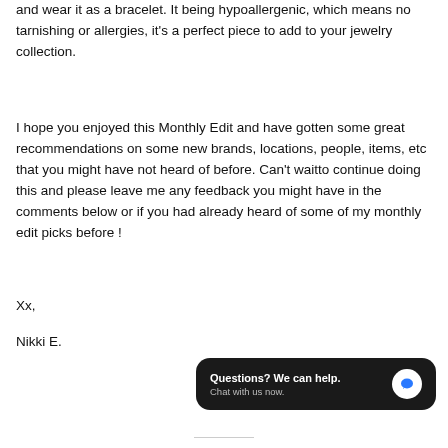and wear it as a bracelet. It being hypoallergenic, which means no tarnishing or allergies, it's a perfect piece to add to your jewelry collection.
I hope you enjoyed this Monthly Edit and have gotten some great recommendations on some new brands, locations, people, items, etc that you might have not heard of before. Can't waitto continue doing this and please leave me any feedback you might have in the comments below or if you had already heard of some of my monthly edit picks before !
Xx,
Nikki E.
[Figure (screenshot): Chat widget with dark rounded rectangle background. Text: 'Questions? We can help. Chat with us now.' with a white circle containing a blue speech bubble icon on the right.]